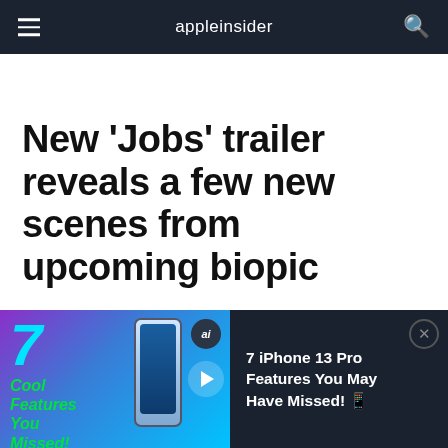appleinsider
New 'Jobs' trailer reveals a few new scenes from upcoming biopic
AppleInsider Staff | Aug 07, 2013
[Figure (infographic): Advertisement banner: 7 Cool Features You Missed! with iPhone 13 Pro image and text '7 iPhone 13 Pro Features You May Have Missed!']